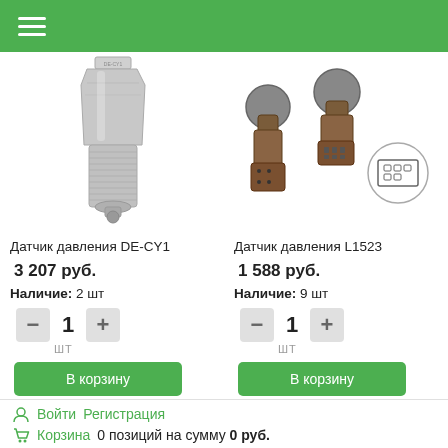[Figure (screenshot): Green navigation header bar with hamburger menu icon]
[Figure (photo): Product photo of pressure sensor DE-CY1, metallic cylindrical sensor]
[Figure (photo): Product photo of pressure sensor L1523, brown connector plugs with wiring diagram]
Датчик давления DE-CY1
3 207 руб.
Наличие: 2 шт
1 шт
В корзину
Датчик давления L1523
1 588 руб.
Наличие: 9 шт
1 шт
В корзину
Войти  Регистрация
Корзина  0 позиций на сумму 0 руб.